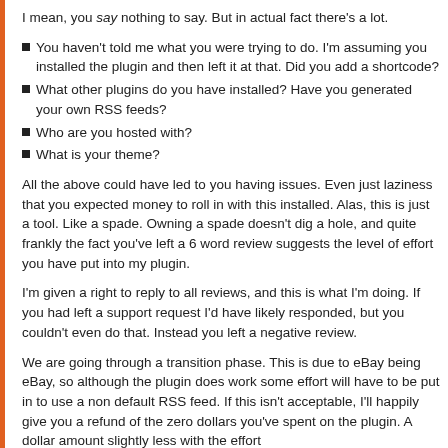I mean, you say nothing to say. But in actual fact there's a lot.
You haven't told me what you were trying to do. I'm assuming you installed the plugin and then left it at that. Did you add a shortcode?
What other plugins do you have installed? Have you generated your own RSS feeds?
Who are you hosted with?
What is your theme?
All the above could have led to you having issues. Even just laziness that you expected money to roll in with this installed. Alas, this is just a tool. Like a spade. Owning a spade doesn't dig a hole, and quite frankly the fact you've left a 6 word review suggests the level of effort you have put into my plugin.
I'm given a right to reply to all reviews, and this is what I'm doing. If you had left a support request I'd have likely responded, but you couldn't even do that. Instead you left a negative review.
We are going through a transition phase. This is due to eBay being eBay, so although the plugin does work some effort will have to be put in to use a non default RSS feed. If this isn't acceptable, I'll happily give you a refund of the zero dollars you've spent on the plugin. A dollar amount slightly less with the effort